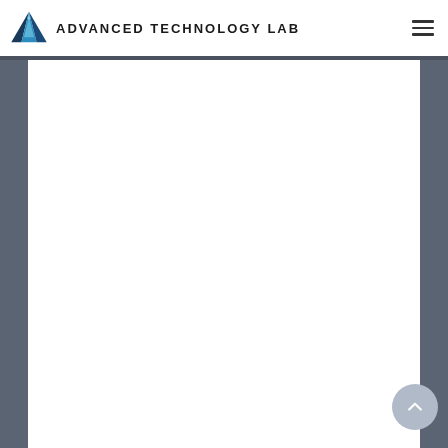Advanced Technology Lab
[Figure (logo): Advanced Technology Lab logo with a stylized blue/teal triangular arrow icon and the text ADVANCED TECHNOLOGY LAB in bold uppercase letters]
[Figure (illustration): Hamburger menu icon (three horizontal lines) in the top right corner of the header]